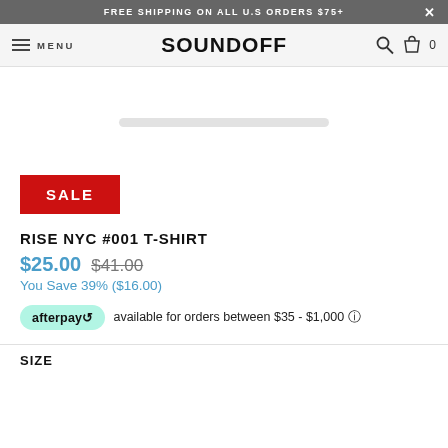FREE SHIPPING ON ALL U.S ORDERS $75+
SOUNDOFF  MENU
[Figure (photo): Partial product image showing what appears to be a white or light-colored t-shirt, cropped at top]
SALE
RISE NYC #001 T-SHIRT
$25.00  $41.00
You Save 39% ($16.00)
afterpay  available for orders between $35 - $1,000 ℹ
SIZE